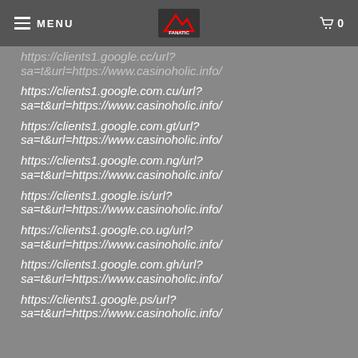MENU | [logo] | 0
https://clients1.google.cc/url?
sa=t&url=https://www.casinoholic.info/
https://clients1.google.com.cu/url?
sa=t&url=https://www.casinoholic.info/
https://clients1.google.com.gt/url?
sa=t&url=https://www.casinoholic.info/
https://clients1.google.com.ng/url?
sa=t&url=https://www.casinoholic.info/
https://clients1.google.is/url?
sa=t&url=https://www.casinoholic.info/
https://clients1.google.co.ug/url?
sa=t&url=https://www.casinoholic.info/
https://clients1.google.com.gh/url?
sa=t&url=https://www.casinoholic.info/
https://clients1.google.ps/url?
sa=t&url=https://www.casinoholic.info/